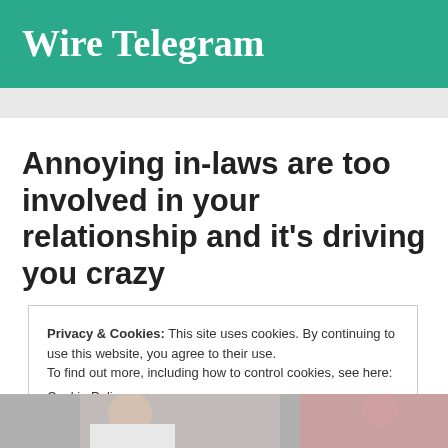Wire Telegram
Annoying in-laws are too involved in your relationship and it's driving you crazy
Privacy & Cookies: This site uses cookies. By continuing to use this website, you agree to their use.
To find out more, including how to control cookies, see here:
Cookie Policy
Close and accept
[Figure (photo): Partial photo strip visible at the bottom of the page showing people]